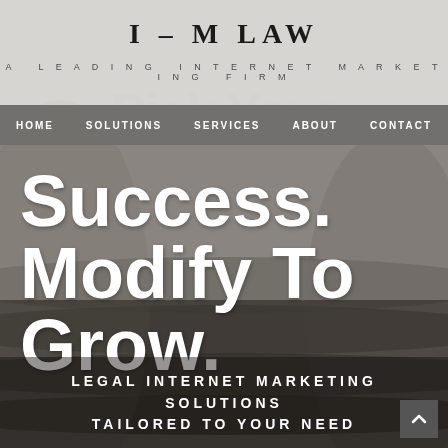I - M LAW
A LEADING INTERNET MARKETING FIRM
HOME   SOLUTIONS   SERVICES   ABOUT   CONTACT
Success. Modify To Grow.
LEGAL INTERNET MARKETING SOLUTIONS TAILORED TO YOUR NEED